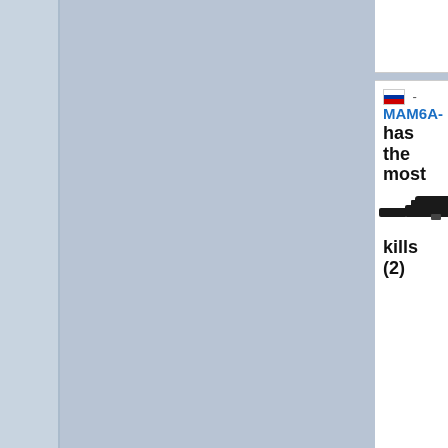a mac10
- MAM6A- has the most
[Figure (illustration): Sniper rifle (scout) icon in dark color, extending horizontally]
kills (2)
Most kills with a scout
OmmonbIPe has the most
[Figure (illustration): Shotgun/automatic weapon icon in dark color, extending horizontally]
kills (1)
Most kills with